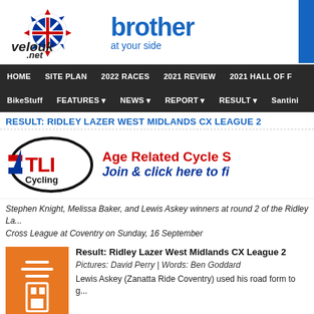[Figure (logo): velouk.net logo with Union Jack sun design and brother 'at your side' logo]
HOME  SITE PLAN  2022 RACES  2021 REVIEW  2021 HALL OF F
BikeStuff  FEATURES  NEWS  REPORT  RESULT  Santini
RESULT: RIDLEY LAZER WEST MIDLANDS CX LEAGUE 2
[Figure (logo): TLI Cycling logo with Age Related Cycle S... Join & click here to fi...]
Stephen Knight, Melissa Baker, and Lewis Askey winners at round 2 of the Ridley La... Cross League at Coventry on Sunday, 16 September
[Figure (photo): Orange image with white icon graphic]
Result: Ridley Lazer West Midlands CX League 2
Pictures: David Perry | Words: Ben Goddard
Lewis Askey (Zanatta Ride Coventry) used his road form to g...